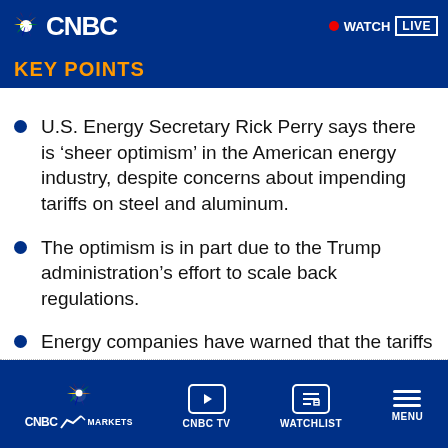CNBC — WATCH LIVE
KEY POINTS
U.S. Energy Secretary Rick Perry says there is ‘sheer optimism’ in the American energy industry, despite concerns about impending tariffs on steel and aluminum.
The optimism is in part due to the Trump administration’s effort to scale back regulations.
Energy companies have warned that the tariffs will negatively impact their business.
CNBC MARKETS | CNBC TV | WATCHLIST | MENU